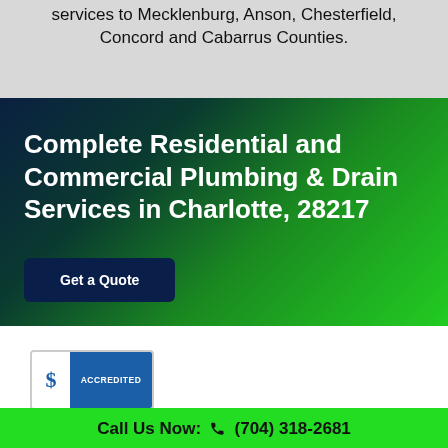services to Mecklenburg, Anson, Chesterfield, Concord and Cabarrus Counties.
Complete Residential and Commercial Plumbing & Drain Services in Charlotte, 28217
Get a Quote
[Figure (logo): BBB Accredited Business badge with blue and white colors]
Call Us Now: (704) 318-2681